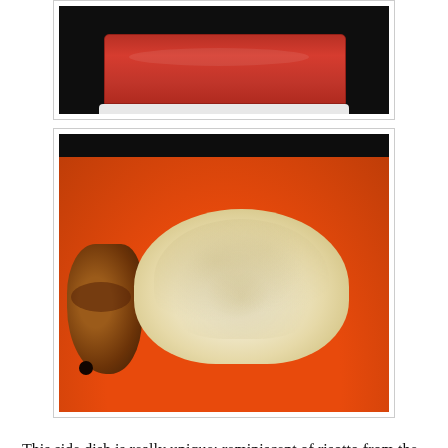[Figure (photo): Top of a red casserole dish on a dark background, partially cropped at top.]
[Figure (photo): A mound of creamy onion rice casserole on an orange/red plate, with a piece of grilled chicken on the left side.]
This side dish is really unique: reminiscent of risotto from the addition of cream and butter at the end, but the ratio of onion to rice is at least 2-to-1. The onions cook up tender and sweet, and the cream/cheese/butter combo gives it a rich creaminess. This dish paired perfectly with juicy grilled chicken. I'm so glad to have added this to my